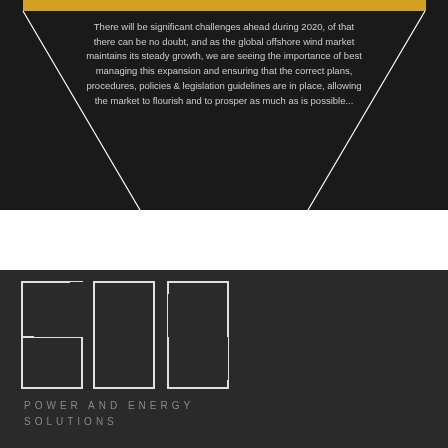[Figure (infographic): Dark background banner with gold top bar and white diagonal lines forming a road/chevron shape, containing a quote about offshore wind market in 2020]
There will be significant challenges ahead during 2020, of that there can be no doubt, and as the global offshore wind market maintains its steady growth, we are seeing the importance of best managing this expansion and ensuring that the correct plans, procedures, policies & legislation guidelines are in place, allowing the market to flourish and to prosper as much as is possible...
[Figure (logo): PES logo - large outlined letters P E S on dark background with 'POWER AND ENERGY SOLUTIONS' subtitle in grey spaced letters]
POWER AND ENERGY SOLUTIONS